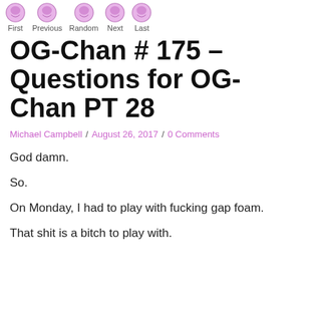First | Previous | Random | Next | Last
OG-Chan # 175 – Questions for OG-Chan PT 28
Michael Campbell / August 26, 2017 / 0 Comments
God damn.
So.
On Monday, I had to play with fucking gap foam.
That shit is a bitch to play with.